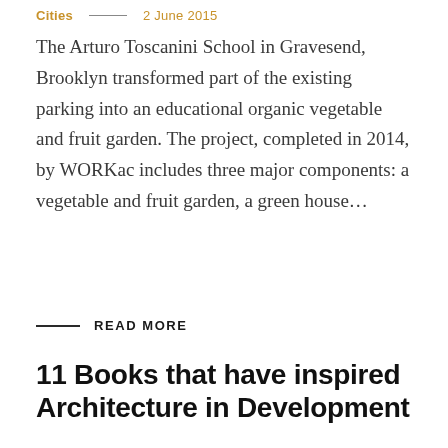Cities  —  2 June 2015
The Arturo Toscanini School in Gravesend, Brooklyn transformed part of the existing parking into an educational organic vegetable and fruit garden. The project, completed in 2014, by WORKac includes three major components: a vegetable and fruit garden, a green house…
READ MORE
11 Books that have inspired Architecture in Development
Architecture  —  21 January 2015
Architecture in Development is a community based open